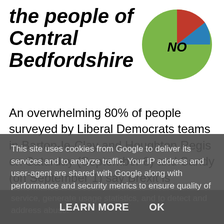the people of Central Bedfordshire
[Figure (pie-chart): Pie chart showing majority NO vote in green with small slices in red and blue]
An overwhelming 80% of people surveyed by Liberal Democrats teams in Barton-le-Clay and Houghton Regis on Saturday (September 8) and Sandy (on September 1) say Brexit is
This site uses cookies from Google to deliver its services and to analyze traffic. Your IP address and user-agent are shared with Google along with performance and security metrics to ensure quality of service, generate usage statistics, and to detect and address abuse.
LEARN MORE   OK